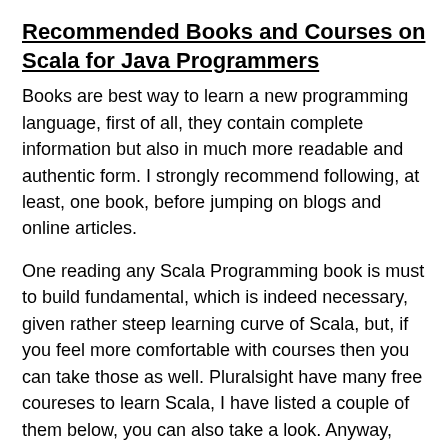Recommended Books and Courses on Scala for Java Programmers
Books are best way to learn a new programming language, first of all, they contain complete information but also in much more readable and authentic form. I strongly recommend following, at least, one book, before jumping on blogs and online articles.
One reading any Scala Programming book is must to build fundamental, which is indeed necessary, given rather steep learning curve of Scala, but, if you feel more comfortable with courses then you can take those as well. Pluralsight have many free coureses to learn Scala, I have listed a couple of them below, you can also take a look. Anyway, here is my list of books and training courses to learn Scala and Apache Spark:
Further Learning
Scala: Getting Started
Learn By Example: Scala
Rock the JVM! Scala and Functional Programming for